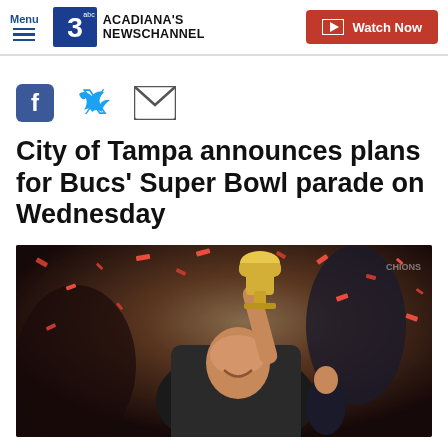Menu | KATC Acadiana's Newschannel 3 | Watch Now
[Figure (other): Social media share icons: Facebook (f), Twitter (bird), Email (envelope)]
City of Tampa announces plans for Bucs' Super Bowl parade on Wednesday
[Figure (photo): Tom Brady holding the Lombardi Trophy above his head, smiling, surrounded by red and black confetti at the Super Bowl celebration]